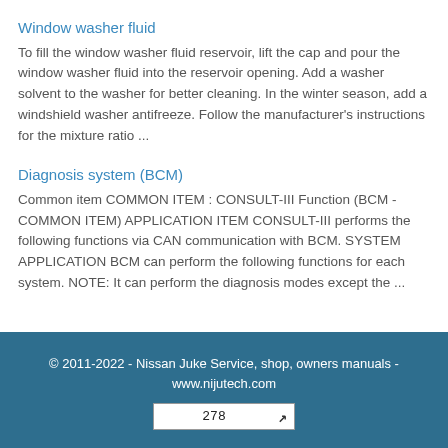Window washer fluid
To fill the window washer fluid reservoir, lift the cap and pour the window washer fluid into the reservoir opening. Add a washer solvent to the washer for better cleaning. In the winter season, add a windshield washer antifreeze. Follow the manufacturer’s instructions for the mixture ratio ...
Diagnosis system (BCM)
Common item COMMON ITEM : CONSULT-III Function (BCM - COMMON ITEM) APPLICATION ITEM CONSULT-III performs the following functions via CAN communication with BCM. SYSTEM APPLICATION BCM can perform the following functions for each system. NOTE: It can perform the diagnosis modes except the ...
© 2011-2022 - Nissan Juke Service, shop, owners manuals - www.nijutech.com